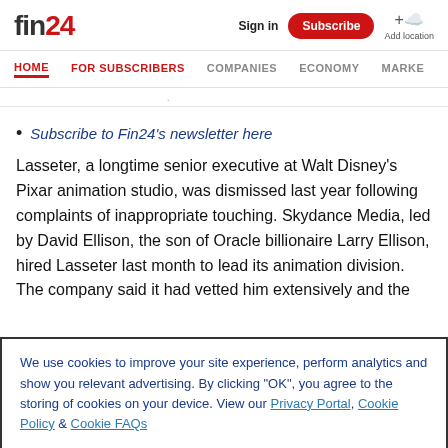fin24 | Sign in | Subscribe | Add location
HOME | FOR SUBSCRIBERS | COMPANIES | ECONOMY | MARKE
Subscribe to Fin24's newsletter here
Lasseter, a longtime senior executive at Walt Disney's Pixar animation studio, was dismissed last year following complaints of inappropriate touching. Skydance Media, led by David Ellison, the son of Oracle billionaire Larry Ellison, hired Lasseter last month to lead its animation division. The company said it had vetted him extensively and the
We use cookies to improve your site experience, perform analytics and show you relevant advertising. By clicking "OK", you agree to the storing of cookies on your device. View our Privacy Portal, Cookie Policy & Cookie FAQs